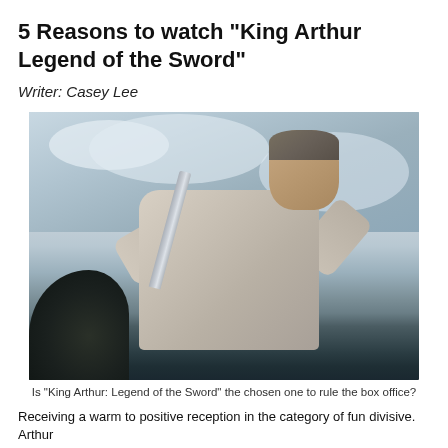5 Reasons to watch "King Arthur Legend of the Sword"
Writer: Casey Lee
[Figure (photo): A man in a grey tunic holding a sword raised above him, photographed from a low angle against a cloudy sky. Dark foliage visible at lower left.]
Is "King Arthur: Legend of the Sword" the chosen one to rule the box office?
Receiving a warm to positive reception in the category of fun divisive. Arthur